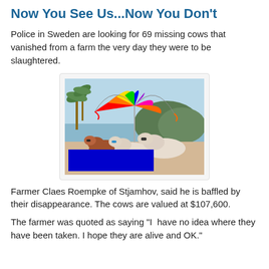Now You See Us...Now You Don't
Police in Sweden are looking for 69 missing cows that vanished from a farm the very day they were to be slaughtered.
[Figure (photo): Humorous photo of cows on a beach wearing sunglasses under a colorful rainbow beach umbrella, with palm trees and a hill in the background. A blue overlay caption reads: 'Nothing says vacation like the word "slaughter".' in yellow bold italic text.]
Farmer Claes Roempke of Stjamhov, said he is baffled by their disappearance. The cows are valued at $107,600.
The farmer was quoted as saying "I  have no idea where they have been taken. I hope they are alive and OK."